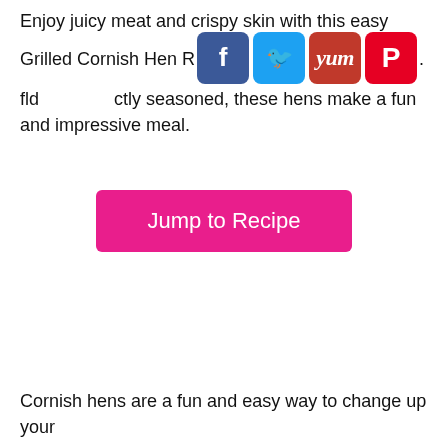Enjoy juicy meat and crispy skin with this easy Grilled Cornish Hen Recipe. Flavorful and perfectly seasoned, these hens make a fun and impressive meal.
[Figure (other): Social media sharing icons: Facebook (blue), Twitter (light blue), Yummly (red), Pinterest (red)]
Jump to Recipe
Cornish hens are a fun and easy way to change up your